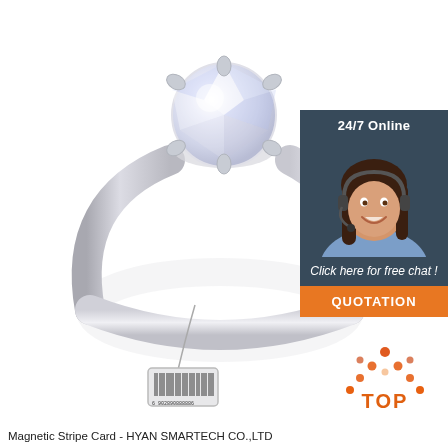[Figure (photo): A silver diamond solitaire ring with a large round brilliant-cut crystal stone set in a six-prong setting, with a small barcode tag attached to the ring band. White background product photo.]
[Figure (infographic): Dark blue-grey panel on the right side showing '24/7 Online' text, a photo of a smiling female customer service agent wearing a headset, 'Click here for free chat!' text in italic, and an orange 'QUOTATION' button.]
[Figure (logo): Orange and red dot-pattern triangle logo with 'TOP' text below in orange, positioned bottom right of the page.]
Magnetic Stripe Card - HYAN SMARTECH CO.,LTD